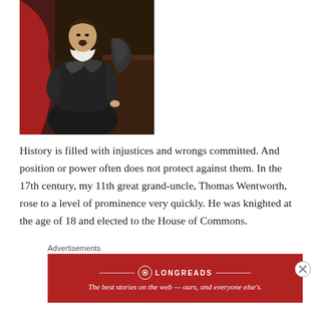[Figure (photo): Portrait painting of Thomas Wentworth in black armor, standing pose against a dark red background, 17th century style oil painting]
History is filled with injustices and wrongs committed. And position or power often does not protect against them. In the 17th century, my 11th great grand-uncle, Thomas Wentworth, rose to a level of prominence very quickly. He was knighted at the age of 18 and elected to the House of Commons.
Advertisements
[Figure (logo): Longreads advertisement banner — red background with Longreads logo and text: The best stories on the web — ours, and everyone else's.]